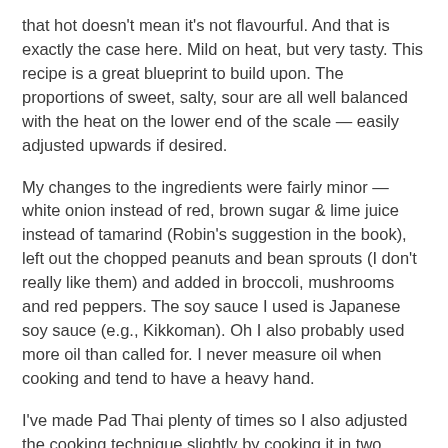that hot doesn't mean it's not flavourful. And that is exactly the case here. Mild on heat, but very tasty. This recipe is a great blueprint to build upon. The proportions of sweet, salty, sour are all well balanced with the heat on the lower end of the scale — easily adjusted upwards if desired.
My changes to the ingredients were fairly minor — white onion instead of red, brown sugar & lime juice instead of tamarind (Robin's suggestion in the book), left out the chopped peanuts and bean sprouts (I don't really like them) and added in broccoli, mushrooms and red peppers. The soy sauce I used is Japanese soy sauce (e.g., Kikkoman). Oh I also probably used more oil than called for. I never measure oil when cooking and tend to have a heavy hand.
I've made Pad Thai plenty of times so I also adjusted the cooking technique slightly by cooking it in two batches since my pan isn't that large and also to ensure that everything is well cooked and seasoned. New cooks may want to split it in two batches so they don't get overwhelmed by having to quickly stirfry everything at the same time.